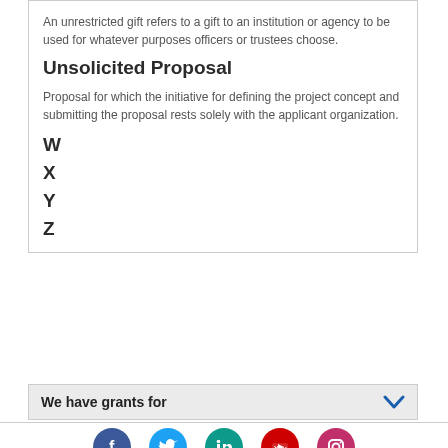An unrestricted gift refers to a gift to an institution or agency to be used for whatever purposes officers or trustees choose.
Unsolicited Proposal
Proposal for which the initiative for defining the project concept and submitting the proposal rests solely with the applicant organization.
W
X
Y
Z
We have grants for
[Figure (other): Social media icon buttons row: Facebook (blue circle), Twitter (light blue circle), LinkedIn (teal circle), YouTube (red circle), Instagram (pink/magenta circle)]